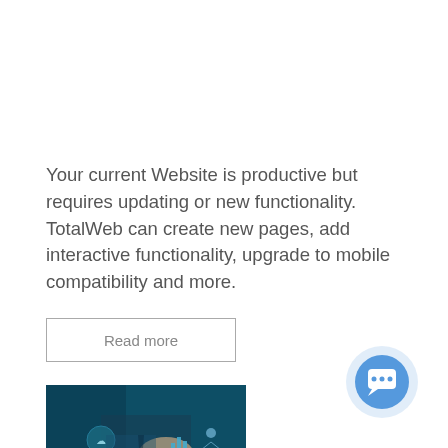Your current Website is productive but requires updating or new functionality. TotalWeb can create new pages, add interactive functionality, upgrade to mobile compatibility and more.
Read more
[Figure (photo): A person in a suit touching a digital interface or screen with technology icons including charts and network diagrams in a dark teal/blue toned environment]
[Figure (illustration): A circular blue chat/messaging button icon with a speech bubble symbol, surrounded by a lighter blue halo/ring]